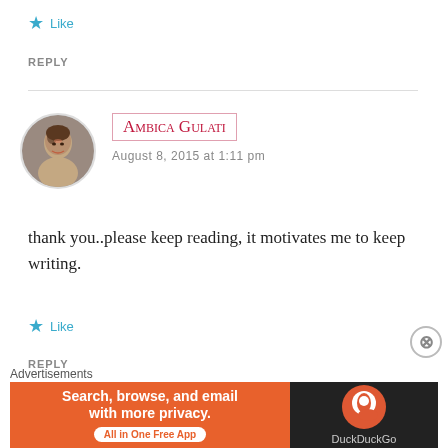★ Like
REPLY
Ambica Gulati
AUGUST 8, 2015 AT 1:11 PM
thank you..please keep reading, it motivates me to keep writing.
★ Like
REPLY
Advertisements
[Figure (other): DuckDuckGo advertisement banner: 'Search, browse, and email with more privacy. All in One Free App' with DuckDuckGo logo on dark background]